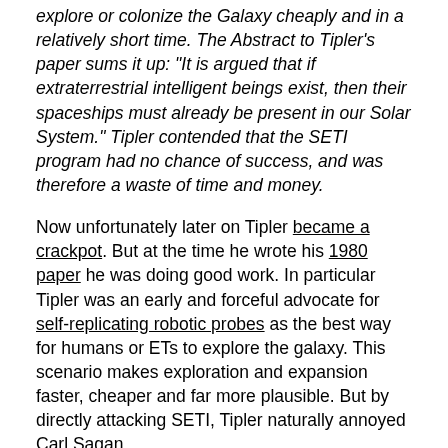explore or colonize the Galaxy cheaply and in a relatively short time. The Abstract to Tipler's paper sums it up: "It is argued that if extraterrestrial intelligent beings exist, then their spaceships must already be present in our Solar System." Tipler contended that the SETI program had no chance of success, and was therefore a waste of time and money.
Now unfortunately later on Tipler became a crackpot. But at the time he wrote his 1980 paper he was doing good work. In particular Tipler was an early and forceful advocate for self-replicating robotic probes as the best way for humans or ETs to explore the galaxy. This scenario makes exploration and expansion faster, cheaper and far more plausible. But by directly attacking SETI, Tipler naturally annoyed Carl Sagan.
A...